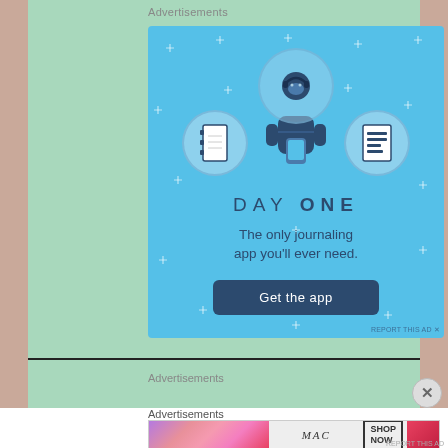Advertisements
[Figure (illustration): Day One journaling app advertisement. Light blue background with sparkle dots, three circular icons showing a notebook and a list, a person figure in the center holding a phone, text 'DAY ONE', 'The only journaling app you'll ever need.' and a dark 'Get the app' button.]
Advertisements
Advertisements
[Figure (illustration): MAC cosmetics advertisement showing colorful lipsticks on the left, MAC logo in the center, SHOP NOW box, and a red lipstick on the right.]